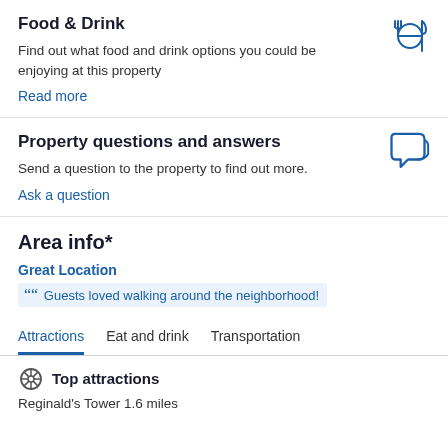Food & Drink
Find out what food and drink options you could be enjoying at this property
Read more
Property questions and answers
Send a question to the property to find out more.
Ask a question
Area info*
Great Location
Guests loved walking around the neighborhood!
Attractions   Eat and drink   Transportation
Top attractions
Reginald's Tower  1.6 miles